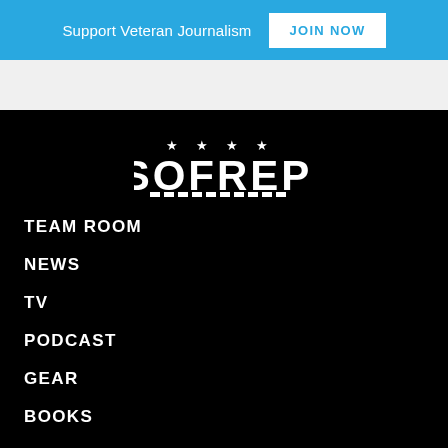Support Veteran Journalism JOIN NOW
[Figure (logo): SOFREP logo with four stars above the wordmark in white on black background]
TEAM ROOM
NEWS
TV
PODCAST
GEAR
BOOKS